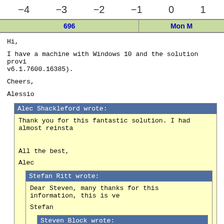[Figure (other): Axis number line showing values -4, -3, -2, -1, 0, 1]
| 696 | Mon M |
| --- | --- |
Hi,

I have a machine with Windows 10 and the solution provi v6.1.7600.16385).

Cheers,

Alessio
Alec Shackleford wrote:

Thank you for this fantastic solution. I had almost reinsta

All the best,

Alec
Stefan Ritt wrote:

Dear Steven, many thanks for this information, this is ve

Stefan
Steven Block wrote: